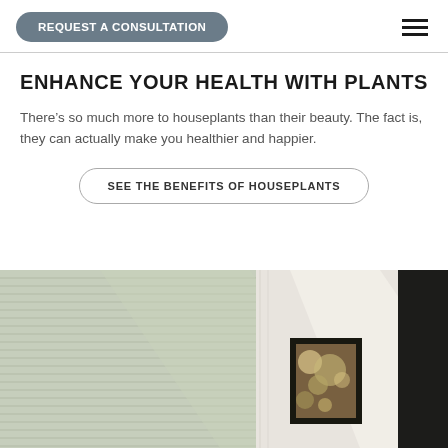REQUEST A CONSULTATION
ENHANCE YOUR HEALTH WITH PLANTS
There’s so much more to houseplants than their beauty. The fact is, they can actually make you healthier and happier.
SEE THE BENEFITS OF HOUSEPLANTS
[Figure (photo): Interior room photo showing green window blinds with natural light, a white room divider panel, a black framed artwork with circular bokeh imagery, and a dark vertical panel.]